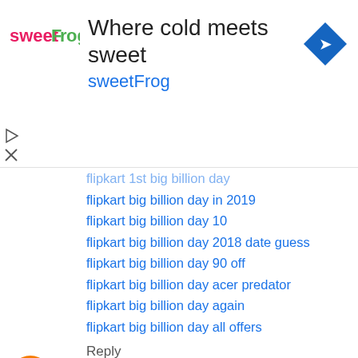[Figure (logo): sweetFrog logo with colorful letters and frog icon]
Where cold meets sweet
sweetFrog
[Figure (illustration): Blue diamond navigation/directions icon with right-turn arrow]
flipkart 1st big billion day (truncated/partially visible)
flipkart big billion day in 2019
flipkart big billion day 10
flipkart big billion day 2018 date guess
flipkart big billion day 90 off
flipkart big billion day acer predator
flipkart big billion day again
flipkart big billion day all offers
Reply
flipkart cashback offers  May 18, 2019 at 11:15 AM
flipkart upcoming
flipkart upcoming sale
flipkart upcoming offers
flipkart upcoming sale 2019